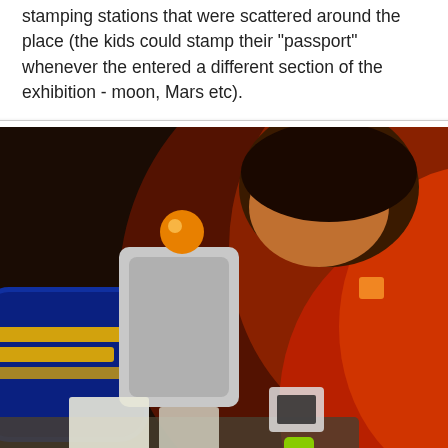stamping stations that were scattered around the place (the kids could stamp their "passport" whenever the entered a different section of the exhibition - moon, Mars etc).
[Figure (photo): A child in a red shirt leaning over a stamping station/interactive exhibit at a science museum, with a blue-paneled display and stamp machine visible, in a dark-lit room.]
I'd recommend this exhibition for kids over 10 years old (and their parents!)
After the museum we went to the hotel to check in. We booked 2 bedrooms suites at Nof Hotel. It's not a fancy hotel, but it was great. It's located in the Carmel center, right above Louis Promenade and the Baha'i Gardens, and from our 7th floor room we could see the beautiful Bay of Haifa. Price was